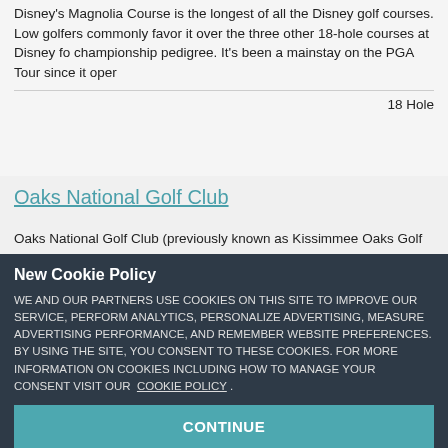Disney's Magnolia Course is the longest of all the Disney golf courses. Low golfers commonly favor it over the three other 18-hole courses at Disney for its championship pedigree. It's been a mainstay on the PGA Tour since it oper...
18 Hole...
Oaks National Golf Club
Oaks National Golf Club (previously known as Kissimmee Oaks Golf Club) natural landscape that is ideal for a scenic and challenging round of golf. The course carefully winds through protected wetlands and nature preserves. There are also several natural lakes scattered throughout that come into play on ten h...
New Cookie Policy
WE AND OUR PARTNERS USE COOKIES ON THIS SITE TO IMPROVE OUR SERVICE, PERFORM ANALYTICS, PERSONALIZE ADVERTISING, MEASURE ADVERTISING PERFORMANCE, AND REMEMBER WEBSITE PREFERENCES. BY USING THE SITE, YOU CONSENT TO THESE COOKIES. FOR MORE INFORMATION ON COOKIES INCLUDING HOW TO MANAGE YOUR CONSENT VISIT OUR COOKIE POLICY.
CONTINUE